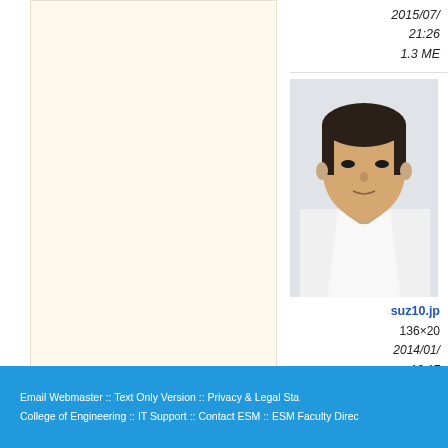2015/07/
21:26
1.3 ME
[Figure (photo): Portrait photo of a man in a white shirt, partially cropped]
suz10.jp
136×20
2014/01/
18:17
33.7 KB
[Figure (other): RSS XML Feed badge, PHP Powered badge, WSC badge]
Email Webmaster :: Text Only Version :: Privacy & Legal Sta
College of Engineering :: IT Support :: Contact ESM :: ESM Faculty Direc